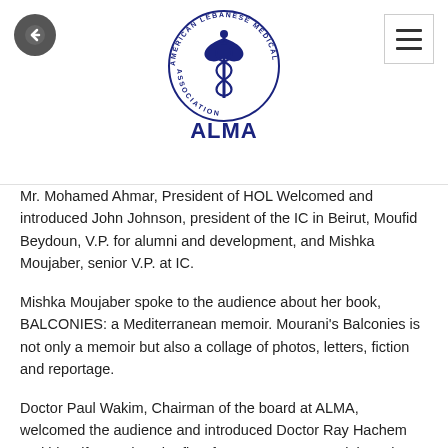ALMA - American Lebanese Medical Association
Mr. Mohamed Ahmar, President of HOL Welcomed and introduced John Johnson, president of the IC in Beirut, Moufid Beydoun, V.P. for alumni and development, and Mishka Moujaber, senior V.P. at IC.
Mishka Moujaber spoke to the audience about her book, BALCONIES: a Mediterranean memoir. Mourani's Balconies is not only a memoir but also a collage of photos, letters, fiction and reportage.
Doctor Paul Wakim, Chairman of the board at ALMA, welcomed the audience and introduced Doctor Ray Hachem and his wife Sandra who flew from Houston, TX to join us in this special meeting.
The Honorable Judge James Kaddo, Chairman of the HOL thanked the 3 groups for their joint efforts to help raise some funds for ALMA to help transport 200 hospital beds